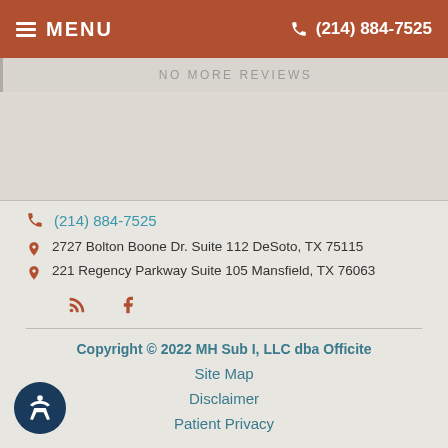MENU  (214) 884-7525
NO MORE REVIEWS
(214) 884-7525
2727 Bolton Boone Dr. Suite 112 DeSoto, TX 75115
221 Regency Parkway Suite 105 Mansfield, TX 76063
Copyright © 2022 MH Sub I, LLC dba Officite
Site Map
Disclaimer
Patient Privacy